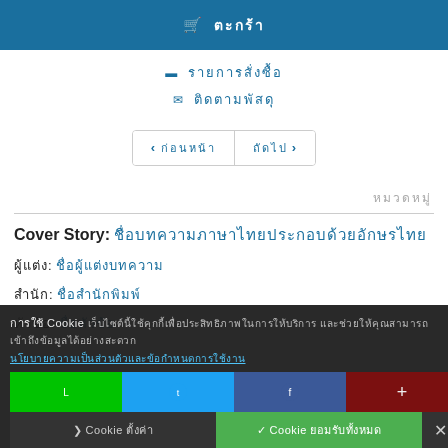🛒 ตะกร้า
📦 รายการสั่งซื้อ
✉ ติดตามพัสดุ
< ก่อนหน้า | ถัดไป >
หมวดหมู่
Cover Story: ชื่อบทความภาษาไทยประกอบด้วยอักษรไทย
ผู้แต่ง: ชื่อผู้แต่งบทความ
สำนัก: ชื่อสำนักพิมพ์
หัวข้อ: ชื่อหัวข้อ
การใช้ Cookie เว็บไซต์นี้ใช้คุกกี้เพื่อประสิทธิภาพในการให้บริการ Cookie ตั้งค่า | ยอมรับ Cookie ทั้งหมด